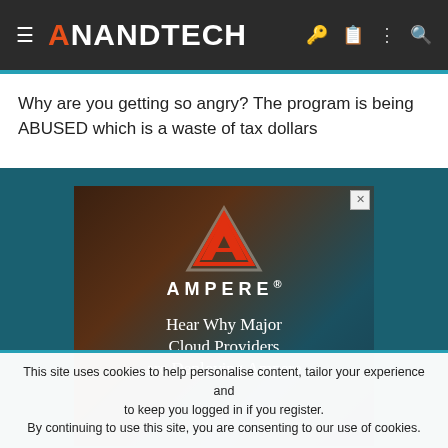AnandTech
Why are you getting so angry? The program is being ABUSED which is a waste of tax dollars
[Figure (advertisement): Ampere advertisement: red triangle logo with text 'AMPERE.' and tagline 'Hear Why Major Cloud Providers are Deploying Ampere' on a dark background with server imagery]
This site uses cookies to help personalise content, tailor your experience and to keep you logged in if you register.
By continuing to use this site, you are consenting to our use of cookies.